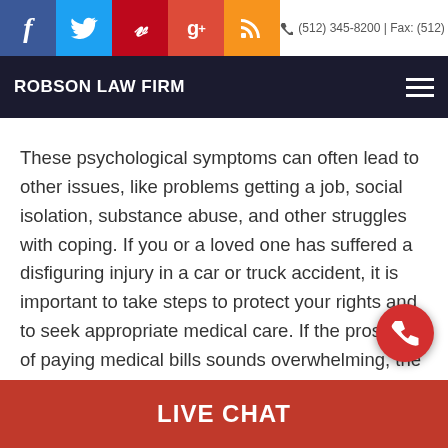ROBSON LAW FIRM | (512) 345-8200 | Fax: (512) 345-8209
These psychological symptoms can often lead to other issues, like problems getting a job, social isolation, substance abuse, and other struggles with coping. If you or a loved one has suffered a disfiguring injury in a car or truck accident, it is important to take steps to protect your rights and to seek appropriate medical care. If the prospect of paying medical bills sounds overwhelming, the Robson Law Firm are personal injury lawyers in Austin, Texas who may be able to assist you with
LIVE CHAT